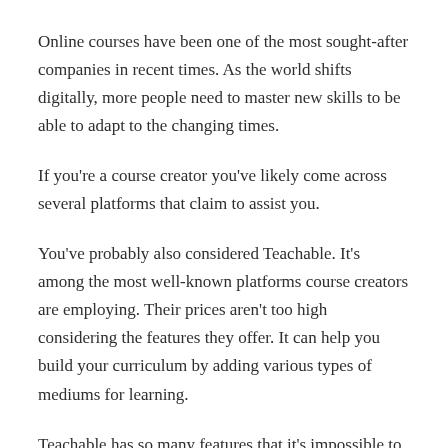Online courses have been one of the most sought-after companies in recent times. As the world shifts digitally, more people need to master new skills to be able to adapt to the changing times.
If you're a course creator you've likely come across several platforms that claim to assist you.
You've probably also considered Teachable. It's among the most well-known platforms course creators are employing. Their prices aren't too high considering the features they offer. It can help you build your curriculum by adding various types of mediums for learning.
Teachable has so many features that it's impossible to sum it up in one sentence.
That's why we created this review to help you will be able to